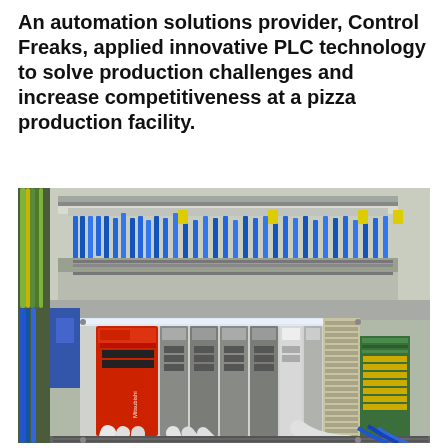An automation solutions provider, Control Freaks, applied innovative PLC technology to solve production challenges and increase competitiveness at a pizza production facility.
[Figure (photo): Interior of an industrial electrical control panel showing Mitsubishi PLC modules (red CPU unit with multiple I/O modules), thick white cable conduits, dense wiring including blue, yellow, and green cables routed through cable trays, and terminal blocks on the right side. The cabinet is beige/grey metallic.]